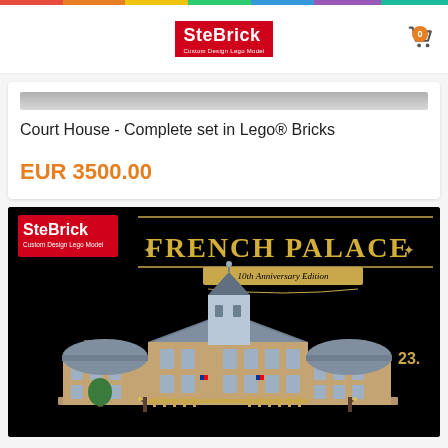SteBrick - Custom Design Lego Model
Court House - Complete set in Lego® Bricks
EUR 3500.00
[Figure (photo): French Palace 10th Anniversary Edition Lego model by Stefano Mapelli - a large detailed Lego build of a French Palace on black background, showing 23.x something (partially cut off). SteBrick logo in top-left. Design by Stefano Mapelli text on left side.]